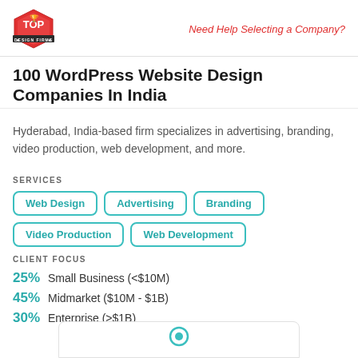Top Design Firms | Need Help Selecting a Company?
100 WordPress Website Design Companies In India
Hyderabad, India-based firm specializes in advertising, branding, video production, web development, and more.
SERVICES
Web Design
Advertising
Branding
Video Production
Web Development
CLIENT FOCUS
25% Small Business (<$10M)
45% Midmarket ($10M - $1B)
30% Enterprise (>$1B)